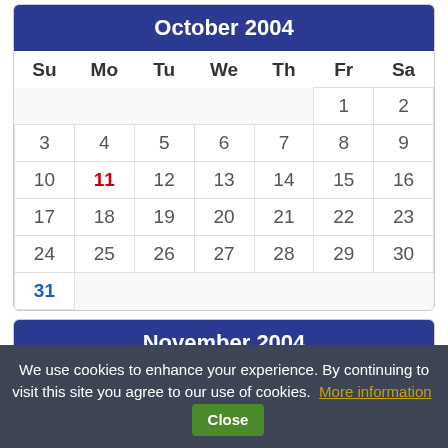| Su | Mo | Tu | We | Th | Fr | Sa |
| --- | --- | --- | --- | --- | --- | --- |
|  |  |  |  |  | 1 | 2 |
| 3 | 4 | 5 | 6 | 7 | 8 | 9 |
| 10 | 11 | 12 | 13 | 14 | 15 | 16 |
| 17 | 18 | 19 | 20 | 21 | 22 | 23 |
| 24 | 25 | 26 | 27 | 28 | 29 | 30 |
| 31 |  |  |  |  |  |  |
| Su | Mo | Tu | We | Th | Fr | Sa |
| --- | --- | --- | --- | --- | --- | --- |
|  | 1 | 2 | 3 | 4 | 5 | 6 |
| 7 | 8 | 9 | 10 | 11 | 12 | 13 |
We use cookies to enhance your experience. By continuing to visit this site you agree to our use of cookies. More information Close